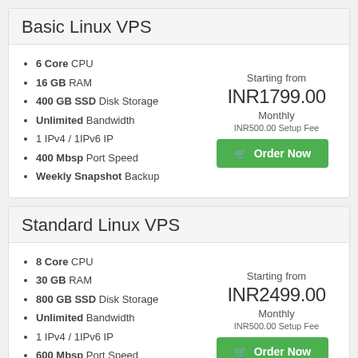Basic Linux VPS
6 Core CPU
16 GB RAM
400 GB SSD Disk Storage
Unlimited Bandwidth
1 IPv4 / 1IPv6 IP
400 Mbsp Port Speed
Weekly Snapshot Backup
Starting from INR1799.00 Monthly INR500.00 Setup Fee
Standard Linux VPS
8 Core CPU
30 GB RAM
800 GB SSD Disk Storage
Unlimited Bandwidth
1 IPv4 / 1IPv6 IP
600 Mbsp Port Speed
Weekly Snapshot Backup
Starting from INR2499.00 Monthly INR500.00 Setup Fee